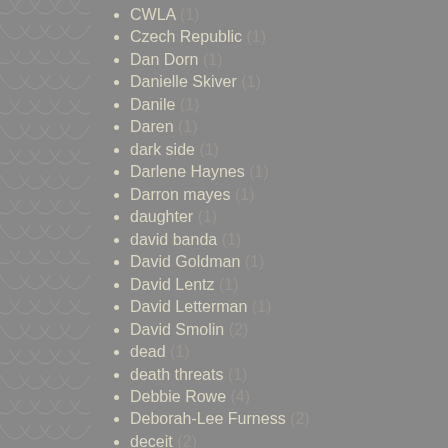CWLA (1)
Czech Republic (1)
Dan Dorn (1)
Danielle Skiver (1)
Danile (1)
Daren (1)
dark side (1)
Darlene Haynes (1)
Darron mayes (1)
daughter (1)
david banda (1)
David Goldman (1)
David Lentz (1)
David Letterman (1)
David Smolin (2)
dead (1)
death threats (1)
Debbie Rowe (4)
Deborah-Lee Furness (2)
deceit (2)
decision (1)
deformers (1)